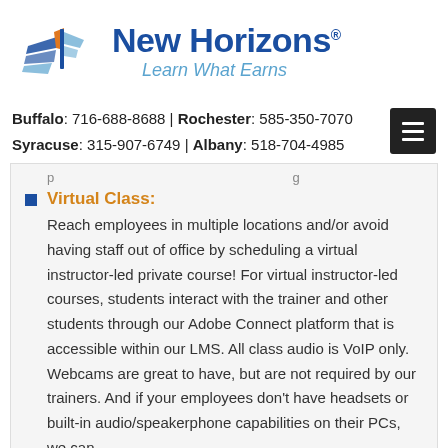[Figure (logo): New Horizons logo with stylized wings/book graphic, text 'New Horizons' in dark blue bold, tagline 'Learn What Earns' in light blue italic]
Buffalo: 716-688-8688 | Rochester: 585-350-7070
Syracuse: 315-907-6749 | Albany: 518-704-4985
[partial text cut off at top of content box]
Virtual Class: Reach employees in multiple locations and/or avoid having staff out of office by scheduling a virtual instructor-led private course! For virtual instructor-led courses, students interact with the trainer and other students through our Adobe Connect platform that is accessible within our LMS. All class audio is VoIP only. Webcams are great to have, but are not required by our trainers. And if your employees don't have headsets or built-in audio/speakerphone capabilities on their PCs, we can